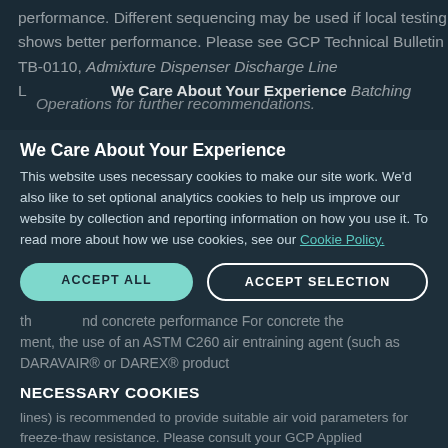performance. Different sequencing may be used if local testing shows better performance. Please see GCP Technical Bulletin TB-0110, Admixture Dispenser Discharge Line L…
We Care About Your Experience
This website uses necessary cookies to make our site work. We'd also like to set optional analytics cookies to help us improve our website by collection and reporting information on how you use it. To read more about how we use cookies, see our Cookie Policy.
ACCEPT ALL
ACCEPT SELECTION
NECESSARY COOKIES
Necessary Cookies enable core functionality such as security, network management and accessibility. You may disable these by changing your browser settings, but this may affect how the website functions.
ANALYTICS COOKIES
We won't set optional cookies unless you enable them. Using this tool will